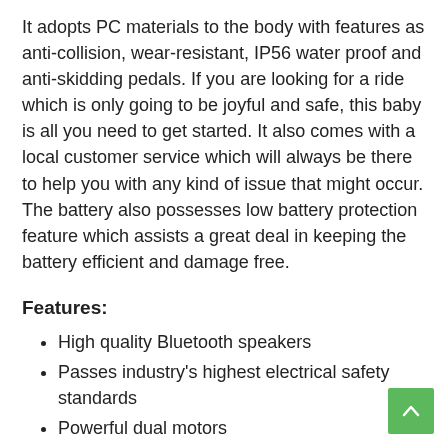It adopts PC materials to the body with features as anti-collision, wear-resistant, IP56 water proof and anti-skidding pedals. If you are looking for a ride which is only going to be joyful and safe, this baby is all you need to get started. It also comes with a local customer service which will always be there to help you with any kind of issue that might occur. The battery also possesses low battery protection feature which assists a great deal in keeping the battery efficient and damage free.
Features:
High quality Bluetooth speakers
Passes industry's highest electrical safety standards
Powerful dual motors
Maximum speed up to 12 kilometer/h